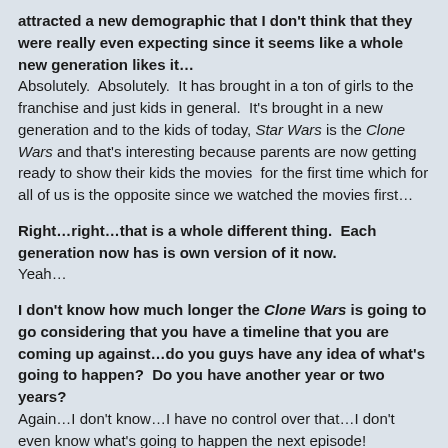attracted a new demographic that I don't think that they were really even expecting since it seems like a whole new generation likes it… Absolutely. Absolutely. It has brought in a ton of girls to the franchise and just kids in general. It's brought in a new generation and to the kids of today, Star Wars is the Clone Wars and that's interesting because parents are now getting ready to show their kids the movies for the first time which for all of us is the opposite since we watched the movies first…
Right…right…that is a whole different thing. Each generation now has is own version of it now. Yeah…
I don't know how much longer the Clone Wars is going to go considering that you have a timeline that you are coming up against…do you guys have any idea of what's going to happen? Do you have another year or two years? Again…I don't know…I have no control over that…I don't even know what's going to happen the next episode!
(Laughter) So they don't tell us that far out. We aren't a part of those